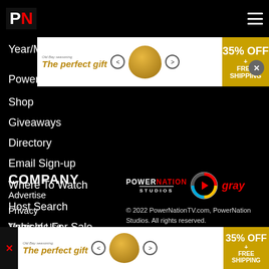PN logo and navigation menu
[Figure (illustration): Advertisement banner: 'The perfect gift' with Old Bay seasoning imagery, carousel arrows, bowl of food, and '35% OFF + FREE SHIPPING' offer]
Year/Make...
Power Nationals
Shop
Giveaways
Directory
Email Sign-up
Where To Watch
Host Search
Vehicles For Sale
COMPANY
Advertise
Privacy
Terms of Use
[Figure (logo): PowerNation Studios logo and gray television network logo]
© 2022 PowerNationTV.com, PowerNation Studios. All rights reserved.
[Figure (illustration): Bottom advertisement banner: 'The perfect gift' with Old Bay seasoning imagery, carousel arrows, bowl of food, and '35% OFF + FREE SHIPPING' offer]